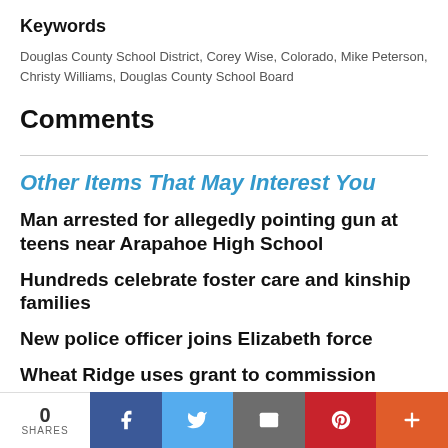Keywords
Douglas County School District, Corey Wise, Colorado, Mike Peterson, Christy Williams, Douglas County School Board
Comments
Other Items That May Interest You
Man arrested for allegedly pointing gun at teens near Arapahoe High School
Hundreds celebrate foster care and kinship families
New police officer joins Elizabeth force
Wheat Ridge uses grant to commission